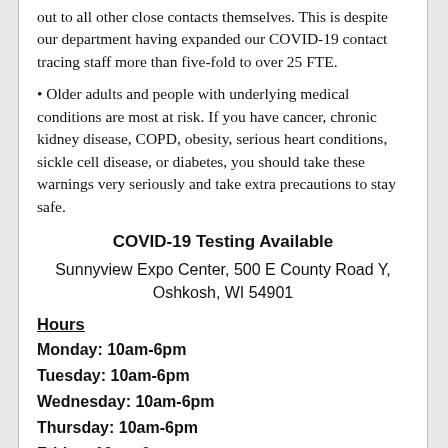out to all other close contacts themselves. This is despite our department having expanded our COVID-19 contact tracing staff more than five-fold to over 25 FTE.
• Older adults and people with underlying medical conditions are most at risk. If you have cancer, chronic kidney disease, COPD, obesity, serious heart conditions, sickle cell disease, or diabetes, you should take these warnings very seriously and take extra precautions to stay safe.
COVID-19 Testing Available
Sunnyview Expo Center, 500 E County Road Y, Oshkosh, WI 54901
Hours
Monday: 10am-6pm
Tuesday: 10am-6pm
Wednesday: 10am-6pm
Thursday: 10am-6pm
Friday: 10am-6pm
Saturday: 8am-4pm